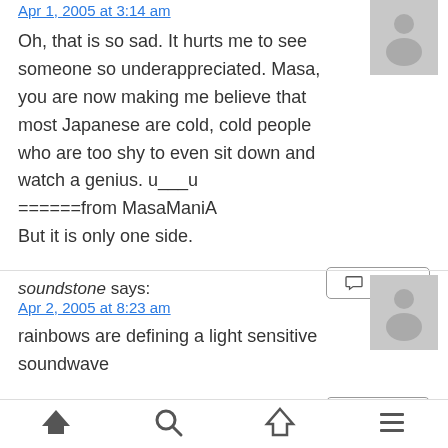Apr 1, 2005 at 3:14 am
Oh, that is so sad. It hurts me to see someone so underappreciated. Masa, you are now making me believe that most Japanese are cold, cold people who are too shy to even sit down and watch a genius. u___u
======from MasaManiA
But it is only one side.
soundstone says:
Apr 2, 2005 at 8:23 am
rainbows are defining a light sensitive soundwave
Izza says: